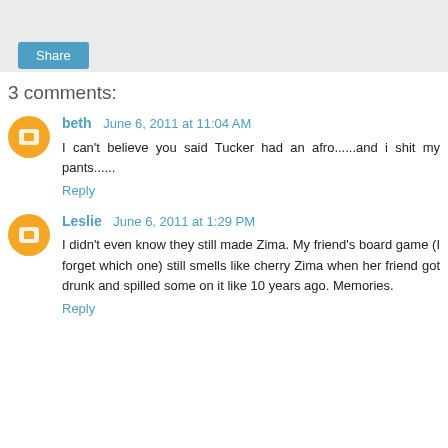[Figure (other): Gray share bar with a blue Share button]
3 comments:
beth  June 6, 2011 at 11:04 AM
I can't believe you said Tucker had an afro......and i shit my pants......
Reply
Leslie  June 6, 2011 at 1:29 PM
I didn't even know they still made Zima. My friend's board game (I forget which one) still smells like cherry Zima when her friend got drunk and spilled some on it like 10 years ago. Memories.
Reply